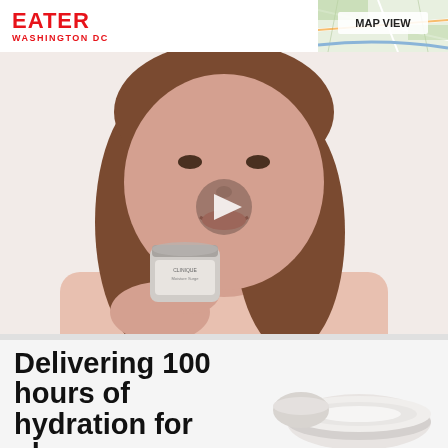EATER WASHINGTON DC
[Figure (map): MAP VIEW button with partial map thumbnail in top right corner]
[Figure (photo): Woman with brown wavy hair wearing a pink top, holding a Clinique skincare product jar, smiling. A play button triangle is visible in the center of the image. Advertisement video thumbnail.]
Delivering 100 hours of hydration for plump,